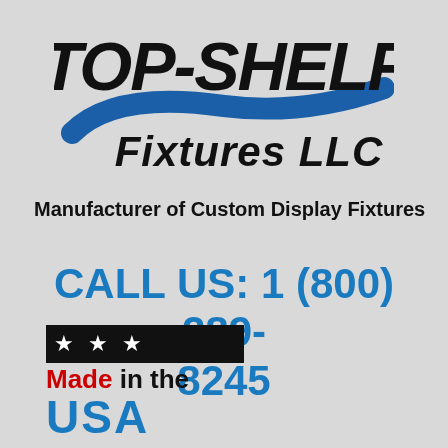[Figure (logo): Top-Shelf Fixtures LLC logo with blue swoosh accent and bold black lettering]
Manufacturer of Custom Display Fixtures
CALL US: 1 (800) 289-8245
[Figure (logo): Made in the USA badge with black star bar and red/blue text]